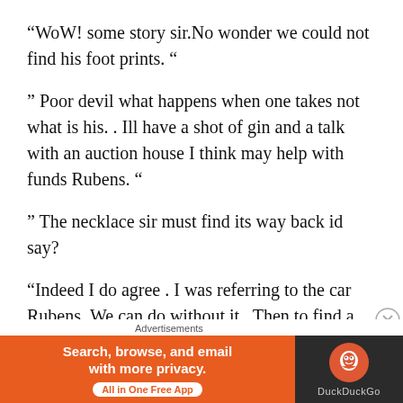“WoW! some story sir.No wonder we could not find his foot prints. “
” Poor devil what happens when one takes not what is his. . Ill have a shot of gin and a talk with an auction house I think may help with funds Rubens. “
” The necklace sir must find its way back id say?
“Indeed I do agree . I was referring to the car Rubens .We can do without it . Then to find a
Advertisements
[Figure (other): DuckDuckGo advertisement banner: orange background on left with text 'Search, browse, and email with more privacy. All in One Free App', dark background on right with DuckDuckGo logo and name.]